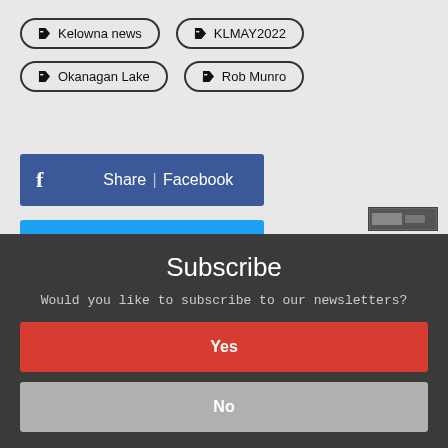Kelowna news
KLMAY2022
Okanagan Lake
Rob Munro
Share | Facebook
Share | Twitter
Subscribe
Would you like to subscribe to our newsletters?
Yes
No